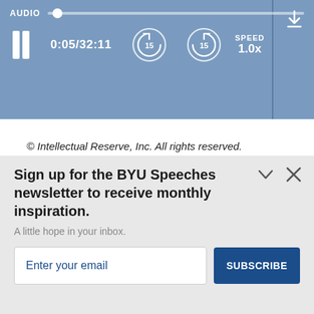[Figure (screenshot): Audio player bar with progress slider, pause button, time display 0:05/32:11, rewind 15s, forward 15s buttons, speed 1.0x, and download icon]
© Intellectual Reserve, Inc. All rights reserved.
[Figure (photo): Partial photo of a person with blonde hair against a dark background]
TOP
Sign up for the BYU Speeches newsletter to receive monthly inspiration.
A little hope in your inbox.
Enter your email
SUBSCRIBE